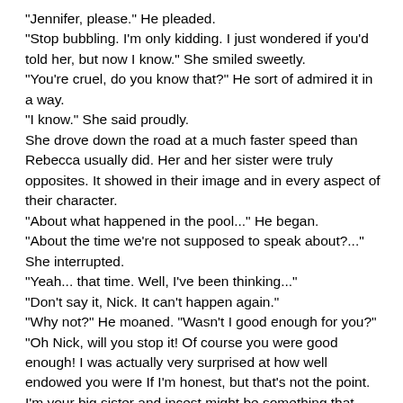"Jennifer, please." He pleaded.
"Stop bubbling. I'm only kidding. I just wondered if you'd told her, but now I know." She smiled sweetly.
"You're cruel, do you know that?" He sort of admired it in a way.
"I know." She said proudly.
She drove down the road at a much faster speed than Rebecca usually did. Her and her sister were truly opposites. It showed in their image and in every aspect of their character.
"About what happened in the pool..." He began.
"About the time we're not supposed to speak about?..." She interrupted.
"Yeah... that time. Well, I've been thinking..."
"Don't say it, Nick. It can't happen again."
"Why not?" He moaned. "Wasn't I good enough for you?"
"Oh Nick, will you stop it! Of course you were good enough! I was actually very surprised at how well endowed you were If I'm honest, but that's not the point. I'm your big sister and incest might be something that comes easy to you and Rebecca, but it doesn't to me. Okay?"